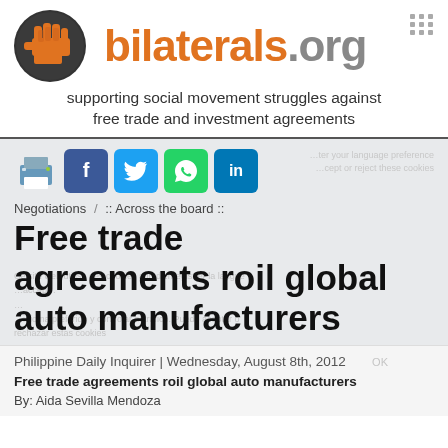[Figure (logo): bilaterals.org logo with fist icon and orange/grey text]
supporting social movement struggles against free trade and investment agreements
Negotiations / :: Across the board ::
Free trade agreements roil global auto manufacturers
Philippine Daily Inquirer | Wednesday, August 8th, 2012
Free trade agreements roil global auto manufacturers
By: Aida Sevilla Mendoza